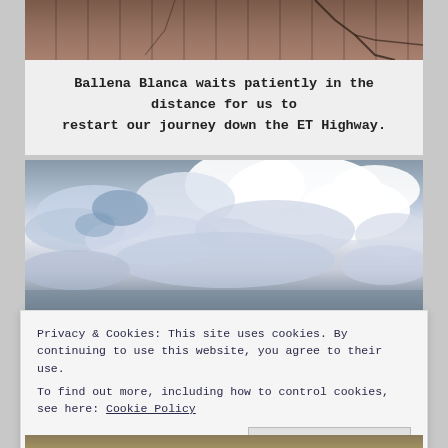[Figure (photo): Top portion of a rocky desert ground photograph with crack lines visible, cropped at the top of the page]
Ballena Blanca waits patiently in the distance for us to restart our journey down the ET Highway.
[Figure (photo): Wide photograph of a dramatic cloudy sky with blue patches visible, cumulus clouds dominating the frame]
Privacy & Cookies: This site uses cookies. By continuing to use this website, you agree to their use.
To find out more, including how to control cookies, see here: Cookie Policy
Close and accept
[Figure (photo): Bottom strip of another landscape photograph, partially visible at the bottom of the page]